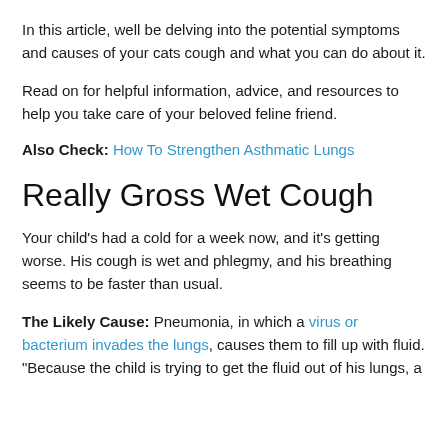In this article, well be delving into the potential symptoms and causes of your cats cough and what you can do about it.
Read on for helpful information, advice, and resources to help you take care of your beloved feline friend.
Also Check: How To Strengthen Asthmatic Lungs
Really Gross Wet Cough
Your child's had a cold for a week now, and it's getting worse. His cough is wet and phlegmy, and his breathing seems to be faster than usual.
The Likely Cause: Pneumonia, in which a virus or bacterium invades the lungs, causes them to fill up with fluid. "Because the child is trying to get the fluid out of his lungs, a